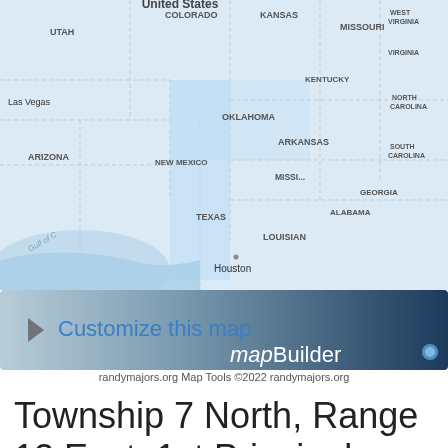[Figure (map): Map of the United States showing state boundaries with labels for states and cities including Utah, Colorado, Kansas, Missouri, Las Vegas, Arizona, New Mexico, Oklahoma, Arkansas, Texas, Louisiana, Houston, and partial eastern states. Map has blue/light coloring with dotted state borders.]
[Figure (infographic): A dark blue gradient banner with a right-pointing arrow chevron icon, text 'Customize this map' in blue on lighter left side, and 'mapBuilder' with a blue dot on the right side in italic/regular white text.]
randymajors.org Map Tools ©2022 randymajors.org
Township 7 North, Range 12 East, 1st Principal Meridian, Ohio